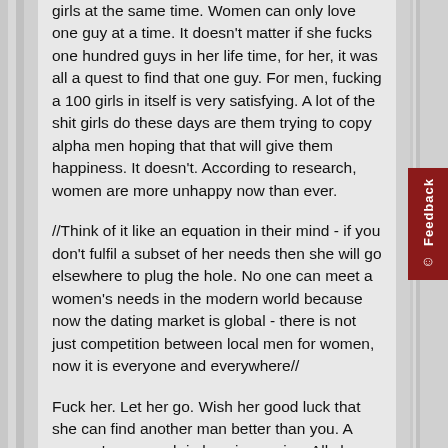girls at the same time. Women can only love one guy at a time. It doesn't matter if she fucks one hundred guys in her life time, for her, it was all a quest to find that one guy. For men, fucking a 100 girls in itself is very satisfying. A lot of the shit girls do these days are them trying to copy alpha men hoping that that will give them happiness. It doesn't. According to research, women are more unhappy now than ever.
//Think of it like an equation in their mind - if you don't fulfil a subset of her needs then she will go elsewhere to plug the hole. No one can meet a women's needs in the modern world because now the dating market is global - there is not just competition between local men for women, now it is everyone and everywhere//
Fuck her. Let her go. Wish her good luck that she can find another man better than you. A woman's approach in love is passive. All she has to do is to comply. From her end, she doesn't even know how to get a relationship from a guy